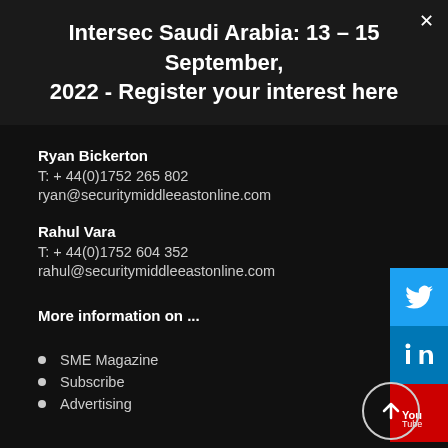Intersec Saudi Arabia: 13 – 15 September, 2022 - Register your interest here
Ryan Bickerton
T: + 44(0)1752 265 802
ryan@securitymiddleeastonline.com
Rahul Vara
T: + 44(0)1752 604 352
rahul@securitymiddleeastonline.com
More information on ...
SME Magazine
Subscribe
Advertising